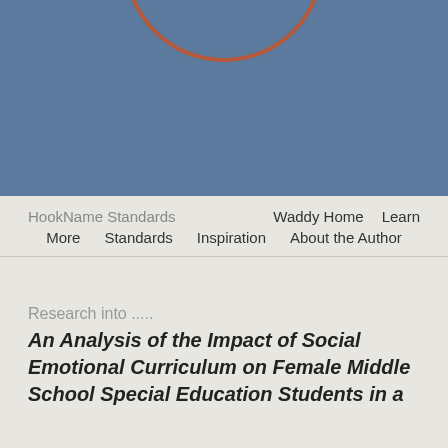[Figure (logo): Website banner with steel blue background and circular logo showing 'SPECIAL ED STUDE...' text with an arrow/play icon in white, surrounded by a reddish-brown circle outline]
HookName Standards    Waddy Home    Learn More    Standards    Inspiration    About the Author
Research into .....
An Analysis of the Impact of Social Emotional Curriculum on Female Middle School Special Education Students in a